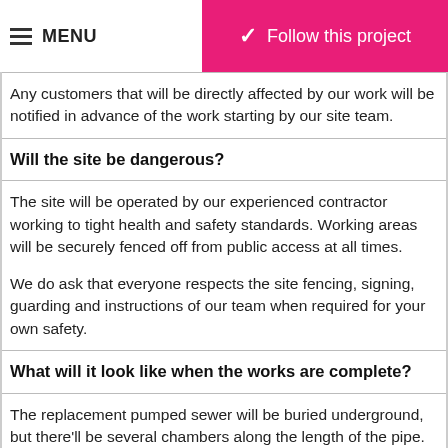MENU | Follow this project
Any customers that will be directly affected by our work will be notified in advance of the work starting by our site team.
Will the site be dangerous?
The site will be operated by our experienced contractor working to tight health and safety standards. Working areas will be securely fenced off from public access at all times.

We do ask that everyone respects the site fencing, signing, guarding and instructions of our team when required for your own safety.
What will it look like when the works are complete?
The replacement pumped sewer will be buried underground, but there'll be several chambers along the length of the pipe.  Reinstatement of the working areas will